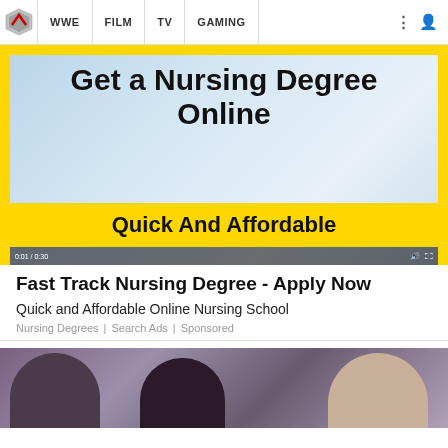WWE | FILM | TV | GAMING
[Figure (screenshot): Ad banner showing nursing degree promotion with text 'Get a Nursing Degree Online' and 'Quick And Affordable' on yellow background]
Fast Track Nursing Degree - Apply Now
Quick and Affordable Online Nursing School
Nursing Degrees | Search Ads | Sponsored
[Figure (photo): Photo of three people, partially visible, appears to be from a TV show]